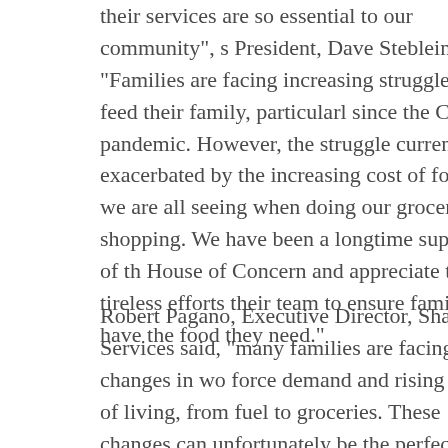their services are so essential to our community", s President, Dave Steblein. "Families are facing increasing struggles to feed their family, particularly since the COVID pandemic. However, the struggle currently is exacerbated by the increasing cost of food that we are all seeing when doing our grocery shopping. We have been a longtime supporter of the House of Concern and appreciate the tireless efforts of their team to ensure families have the food they need."
Robert Pagano, Executive Director, Shared Services said, "many families are facing rapid changes in work force demand and rising costs of living, from fuel to groceries. These changes can unfortunately be the perfect storm for some families. I am proud we